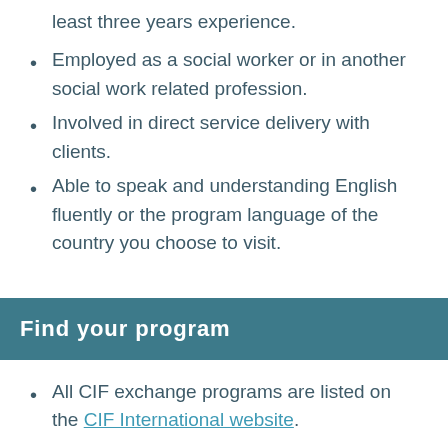least three years experience.
Employed as a social worker or in another social work related profession.
Involved in direct service delivery with clients.
Able to speak and understanding English fluently or the program language of the country you choose to visit.
Find your program
All CIF exchange programs are listed on the CIF International website.
Find more information about the host countries you are interested in by following the links to individual National Branch websites.